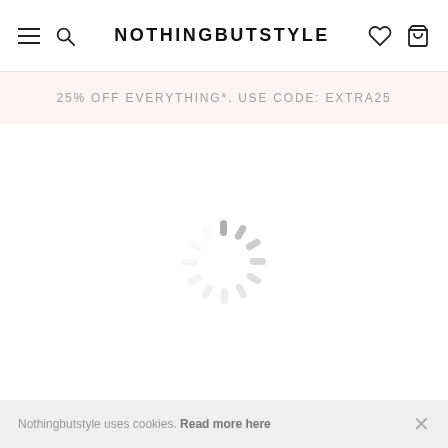NOTHINGBUTSTYLE
25% OFF EVERYTHING*. USE CODE: EXTRA25
[Figure (other): Animated loading spinner (circular arrangement of gray rounded strokes)]
Nothingbutstyle uses cookies. Read more here